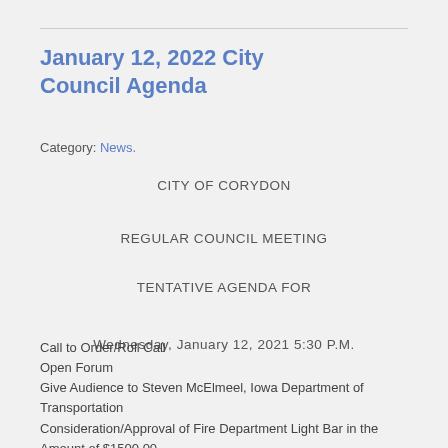January 12, 2022 City Council Agenda
Category: News.
CITY OF CORYDON
REGULAR COUNCIL MEETING
TENTATIVE AGENDA FOR
Wednesday, January 12, 2021 5:30 P.M.
Call to Order/Roll Call
Open Forum
Give Audience to Steven McElmeel, Iowa Department of Transportation
Consideration/Approval of Fire Department Light Bar in the Amount of $1500.00